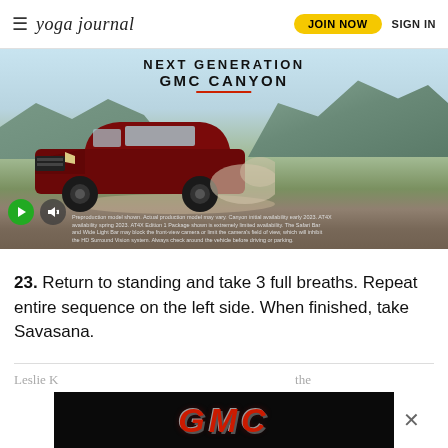yoga journal  JOIN NOW  SIGN IN
[Figure (photo): GMC Canyon advertisement showing a dark red/maroon pickup truck driving on a dirt road in a mountainous landscape. Text overlay reads 'NEXT GENERATION GMC CANYON'. A play button and mute button appear in the lower left. Disclaimer text visible at bottom.]
23. Return to standing and take 3 full breaths. Repeat entire sequence on the left side. When finished, take Savasana.
[Figure (logo): GMC logo advertisement on black background with red italic GMC lettering and an X close button]